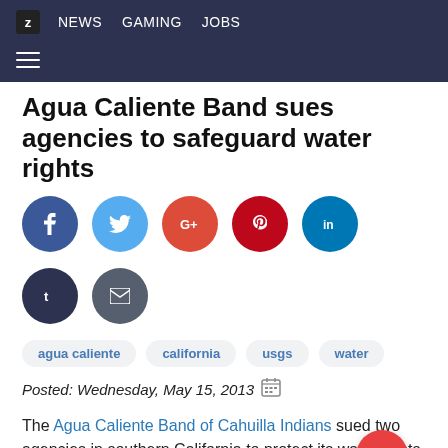Z NEWS GAMING JOBS
Agua Caliente Band sues agencies to safeguard water rights
[Figure (infographic): Social sharing buttons: Facebook (dark blue), Twitter (light blue), Google+ (orange-red), Pinterest (dark red), LinkedIn (blue), Tumblr (dark navy), Email (gray)]
agua caliente
california
usgs
water
Posted: Wednesday, May 15, 2013
The Agua Caliente Band of Cahuilla Indians sued two agencies in southern California to protect its water rights.
The tribe is asserting senior water rights in the Coachella